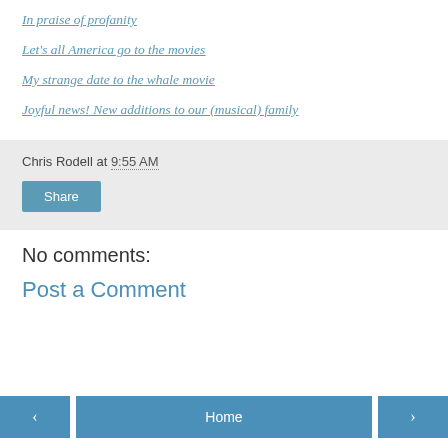In praise of profanity
Let's all America go to the movies
My strange date to the whale movie
Joyful news! New additions to our (musical) family
Chris Rodell at 9:55 AM
Share
No comments:
Post a Comment
< Home >